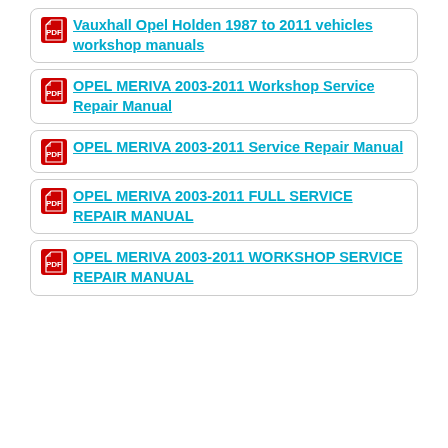Vauxhall Opel Holden 1987 to 2011 vehicles workshop manuals
OPEL MERIVA 2003-2011 Workshop Service Repair Manual
OPEL MERIVA 2003-2011 Service Repair Manual
OPEL MERIVA 2003-2011 FULL SERVICE REPAIR MANUAL
OPEL MERIVA 2003-2011 WORKSHOP SERVICE REPAIR MANUAL